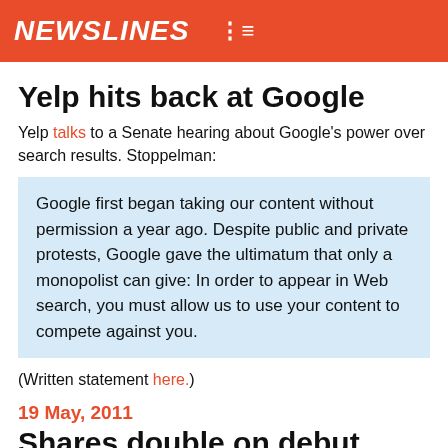NEWSLINES
Yelp hits back at Google
Yelp talks to a Senate hearing about Google's power over search results. Stoppelman:
Google first began taking our content without permission a year ago. Despite public and private protests, Google gave the ultimatum that only a monopolist can give: In order to appear in Web search, you must allow us to use your content to compete against you.
(Written statement here.)
19 May, 2011
Shares double on debut
LinkedIn
Shares rise as much as 171% intraday on debut at the New York